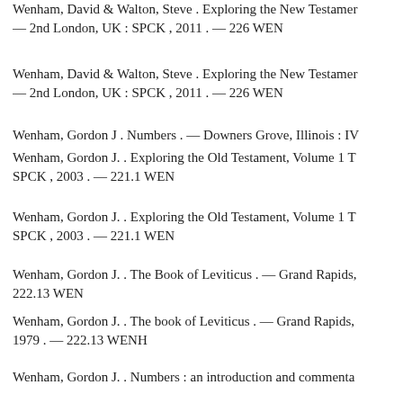Wenham, David & Walton, Steve . Exploring the New Testament — 2nd London, UK : SPCK , 2011 . — 226 WEN
Wenham, David & Walton, Steve . Exploring the New Testament — 2nd London, UK : SPCK , 2011 . — 226 WEN
Wenham, Gordon J . Numbers . — Downers Grove, Illinois : IV
Wenham, Gordon J. . Exploring the Old Testament, Volume 1 T SPCK , 2003 . — 221.1 WEN
Wenham, Gordon J. . Exploring the Old Testament, Volume 1 T SPCK , 2003 . — 221.1 WEN
Wenham, Gordon J. . The Book of Leviticus . — Grand Rapids, 222.13 WEN
Wenham, Gordon J. . The book of Leviticus . — Grand Rapids, 1979 . — 222.13 WENH
Wenham, Gordon J. . Numbers : an introduction and commentary Press , 1981 . — 222.14 WENH
Wenham, John . Redating Matthew, Mark and Luke : a fresh ass London, UK : Hodder & Stoughton , 1991 . — 226.1 WENH
Wesley, John . Explanatory notes upon the New Testament . — Office , 1868 . — 228.7 WESL